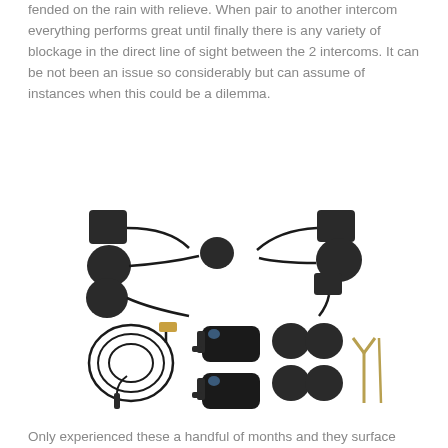fended on the rain with relieve. When pair to another intercom everything performs great until finally there is any variety of blockage in the direct line of sight between the 2 intercoms. It can be not been an issue so considerably but can assume of instances when this could be a dilemma.
[Figure (photo): Photo of motorcycle helmet intercom accessories including earphones, speakers, microphones, USB charging cable, main intercom units with clips, foam pads, and mounting bracket hardware, all in black on a white background.]
Only experienced these a handful of months and they surface